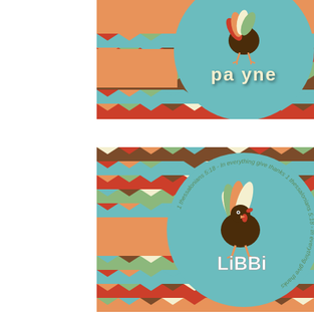[Figure (illustration): Thanksgiving place card for 'payne' - top card with chevron pattern background in teal, red, orange, brown, green, cream colors, an orange horizontal band, a teal circle with a cartoon turkey and the name 'payne' in cream bold text]
[Figure (illustration): Thanksgiving place card for 'LiBBi' - bottom card with chevron pattern background, orange band, teal circle with circular scripture text 'In everything give thanks 1 Thessalonians 5:18', cartoon turkey with colorful feathers, and the name 'LiBBi' in cream/white bold text]